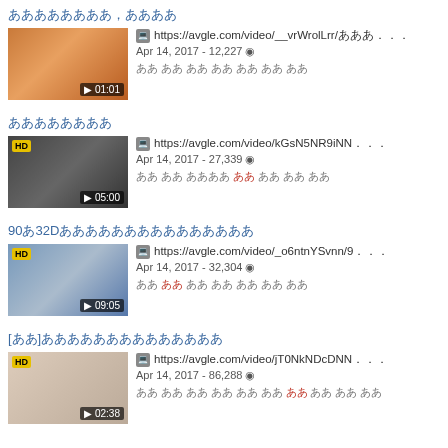ああああああああ,ああああ — https://avgle.com/video/__vrWrolLrr/あ... Apr 14, 2017 - 12,227 — 01:01
ああああああああ HD — https://avgle.com/video/kGsN5NR9iNN... Apr 14, 2017 - 27,339 — 05:00
90あ32Dああああああああああああああ HD — https://avgle.com/video/_o6ntnYSvnn/9... Apr 14, 2017 - 32,304 — 09:05
[ああ]ああああああああああああああ HD — https://avgle.com/video/jT0NkNDcDNN... Apr 14, 2017 - 86,288 — 02:38